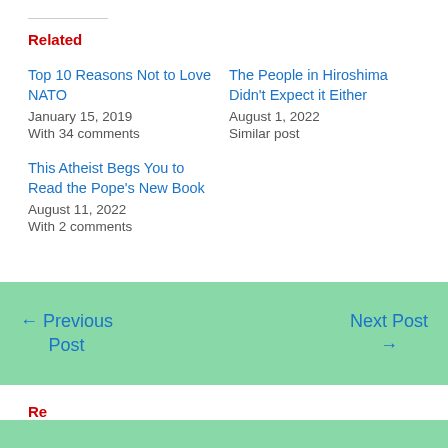Related
Top 10 Reasons Not to Love NATO
January 15, 2019
With 34 comments
The People in Hiroshima Didn't Expect it Either
August 1, 2022
Similar post
This Atheist Begs You to Read the Pope's New Book
August 11, 2022
With 2 comments
← Previous Post    Next Post →